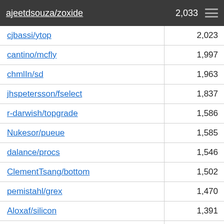| Repository | Stars |
| --- | --- |
| ajeetdsouza/zoxide | 2,033 |
| cjbassi/ytop | 2,023 |
| cantino/mcfly | 1,997 |
| chmlIn/sd | 1,963 |
| jhspetersson/fselect | 1,837 |
| r-darwish/topgrade | 1,586 |
| Nukesor/pueue | 1,585 |
| dalance/procs | 1,546 |
| ClementTsang/bottom | 1,502 |
| pemistahl/grex | 1,470 |
| Aloxaf/silicon | 1,391 |
| m4b/bingrep | 1,375 |